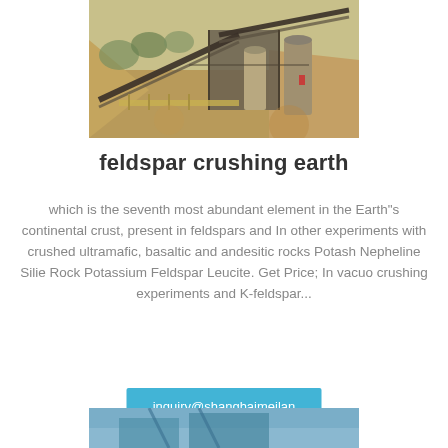[Figure (photo): Outdoor mining/quarrying facility with conveyor belts, silos, and earthworks on a hillside]
feldspar crushing earth
which is the seventh most abundant element in the Earth"s continental crust, present in feldspars and In other experiments with crushed ultramafic, basaltic and andesitic rocks Potash Nepheline Silie Rock Potassium Feldspar Leucite. Get Price; In vacuo crushing experiments and K-feldspar...
inquiry@shanghaimeilan
[Figure (photo): Partial view of a mining or crushing facility, bottom portion of page]